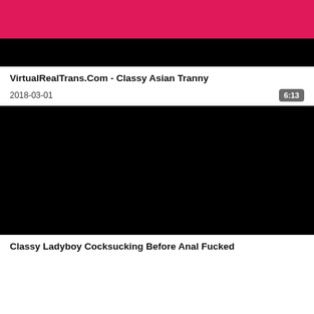[Figure (photo): Video thumbnail showing a person in a pink/red outfit, partially visible at top of frame, black background]
VirtualRealTrans.Com - Classy Asian Tranny
2018-03-01
6:13
[Figure (photo): Video thumbnail, entirely black frame]
Classy Ladyboy Cocksucking Before Anal Fucked